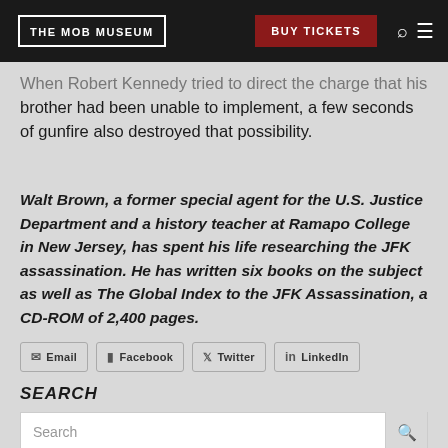THE MOB MUSEUM | BUY TICKETS
When Robert Kennedy tried to direct the charge that his brother had been unable to implement, a few seconds of gunfire also destroyed that possibility.
Walt Brown, a former special agent for the U.S. Justice Department and a history teacher at Ramapo College in New Jersey, has spent his life researching the JFK assassination. He has written six books on the subject as well as The Global Index to the JFK Assassination, a CD-ROM of 2,400 pages.
Email
Facebook
Twitter
LinkedIn
SEARCH